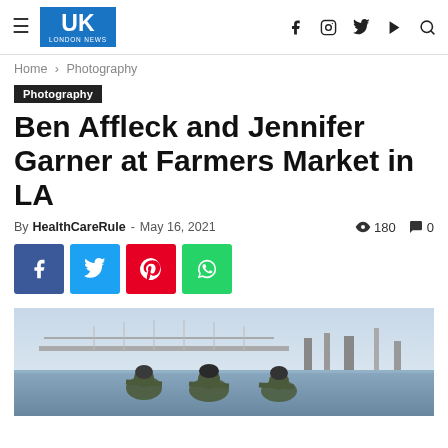UK London News — navigation bar
Home › Photography
Photography
Ben Affleck and Jennifer Garner at Farmers Market in LA
By HealthCareRule - May 16, 2021  👁 180  💬 0
[Figure (screenshot): Social share buttons: Facebook (blue), Twitter (light blue), Pinterest (red), WhatsApp (green)]
[Figure (photo): Military personnel in camouflage and helmets in water, with a bridge and harbor visible in the background]